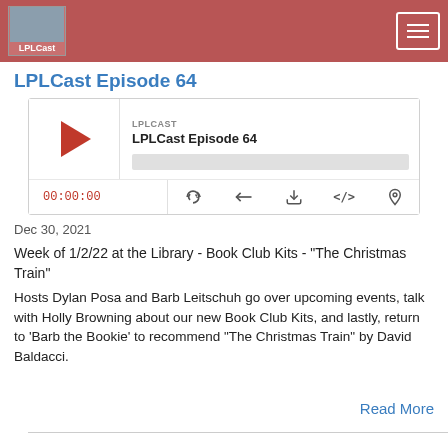LPLCast
LPLCast Episode 64
[Figure (other): Podcast player widget showing LPLCast Episode 64 with play button, progress bar, time display 00:00:00 and control icons]
Dec 30, 2021
Week of 1/2/22 at the Library - Book Club Kits - "The Christmas Train"
Hosts Dylan Posa and Barb Leitschuh go over upcoming events, talk with Holly Browning about our new Book Club Kits, and lastly, return to 'Barb the Bookie' to recommend "The Christmas Train" by David Baldacci.
Read More